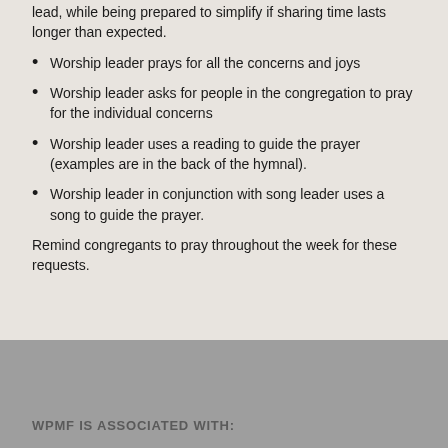lead, while being prepared to simplify if sharing time lasts longer than expected.
Worship leader prays for all the concerns and joys
Worship leader asks for people in the congregation to pray for the individual concerns
Worship leader uses a reading to guide the prayer (examples are in the back of the hymnal).
Worship leader in conjunction with song leader uses a song to guide the prayer.
Remind congregants to pray throughout the week for these requests.
WPMF IS ASSOCIATED WITH: